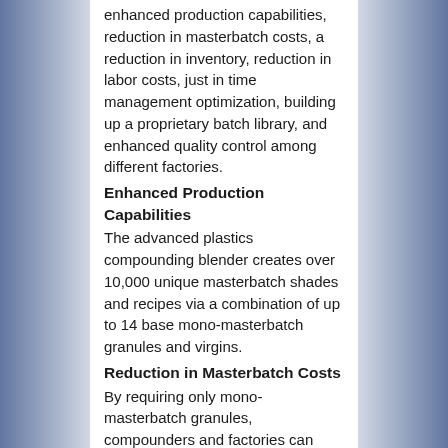enhanced production capabilities, reduction in masterbatch costs, a reduction in inventory, reduction in labor costs, just in time management optimization, building up a proprietary batch library, and enhanced quality control among different factories.
Enhanced Production Capabilities
The advanced plastics compounding blender creates over 10,000 unique masterbatch shades and recipes via a combination of up to 14 base mono-masterbatch granules and virgins.
Reduction in Masterbatch Costs
By requiring only mono-masterbatch granules, compounders and factories can order large quantities of primary color granules from any supplier, gaining on both quantities of scale